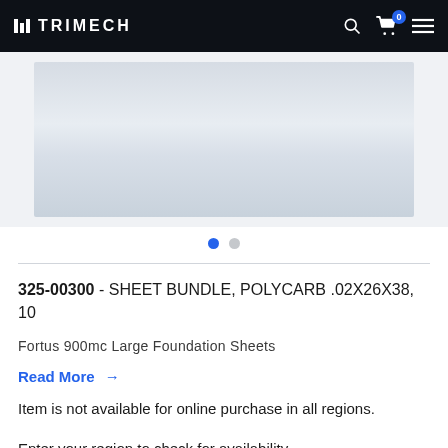TRIMECH
[Figure (photo): Product photo of polycarbonate sheets bundle, light gray/white material, partially visible]
325-00300 - SHEET BUNDLE, POLYCARB .02X26X38, 10
Fortus 900mc Large Foundation Sheets
Read More →
Item is not available for online purchase in all regions.
Enter your region to check for availability